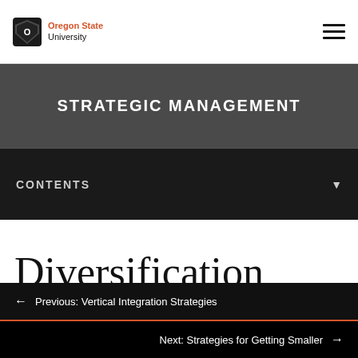Oregon State University
STRATEGIC MANAGEMENT
CONTENTS
Diversification
Previous: Vertical Integration Strategies
Next: Strategies for Getting Smaller